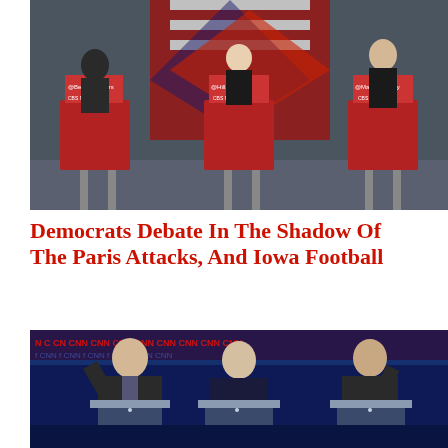[Figure (photo): Democratic presidential debate photo showing Bernie Sanders, Hillary Clinton, and Martin O'Malley at podiums with CBS News signage and American flag backdrop]
Democrats Debate In The Shadow Of The Paris Attacks, And Iowa Football
[Figure (photo): Democratic presidential debate photo on CNN set showing three candidates at podiums with CNN branding in background]